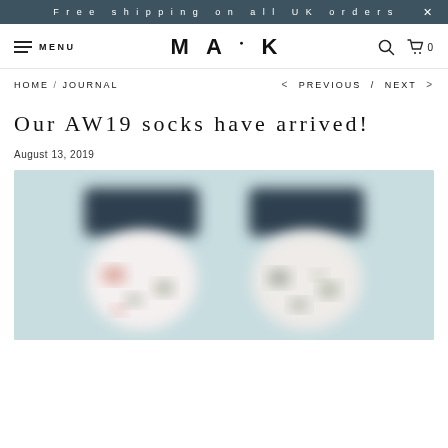Free shipping on all UK orders
[Figure (logo): MAiK brand logo with hamburger menu and cart icon navigation bar]
HOME / JOURNAL    < PREVIOUS / NEXT >
Our AW19 socks have arrived!
August 13, 2019
[Figure (photo): Blurred lifestyle photo of AW19 socks on a light blue background, showing two pairs of patterned socks with dark tops and floral/leaf print designs]